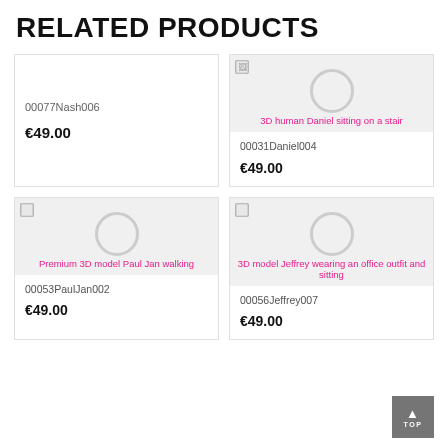RELATED PRODUCTS
[Figure (other): Product card for 00077Nash006, no image, price €49.00]
[Figure (other): Product card for 00031Daniel004 with broken image '3D human Daniel sitting on a stair', price €49.00]
[Figure (other): Product card for 00053PaulJan002 with broken image 'Premium 3D model Paul Jan walking', price €49.00]
[Figure (other): Product card for 00056Jeffrey007 with broken image '3D model Jeffrey wearing an office outfit and sitting', price €49.00]